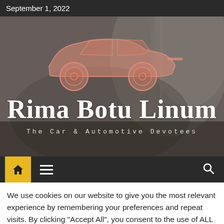September 1, 2022
[Figure (photo): Website header hero image showing a close-up of a vintage/classic car with chrome details. Overlaid is a salmon/pink colored outline illustration of a sports car. The site title 'Rima Botu Linum' and subtitle 'The Car & Automotive Devotees' are displayed over the image.]
We use cookies on our website to give you the most relevant experience by remembering your preferences and repeat visits. By clicking "Accept All", you consent to the use of ALL the cookies. However, you may visit "Cookie Settings" to provide a controlled consent.